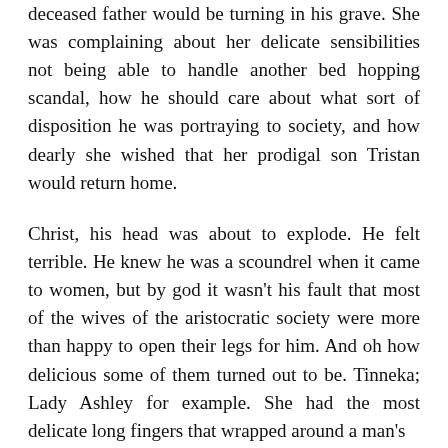deceased father would be turning in his grave. She was complaining about her delicate sensibilities not being able to handle another bed hopping scandal, how he should care about what sort of disposition he was portraying to society, and how dearly she wished that her prodigal son Tristan would return home.
Christ, his head was about to explode. He felt terrible. He knew he was a scoundrel when it came to women, but by god it wasn't his fault that most of the wives of the aristocratic society were more than happy to open their legs for him. And oh how delicious some of them turned out to be. Tinneka; Lady Ashley for example. She had the most delicate long fingers that wrapped around a man's